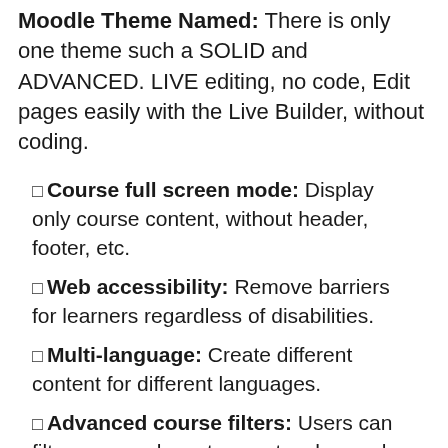Moodle Theme Named: There is only one theme such a SOLID and ADVANCED. LIVE editing, no code, Edit pages easily with the Live Builder, without coding.
Course full screen mode: Display only course content, without header, footer, etc.
Web accessibility: Remove barriers for learners regardless of disabilities.
Multi-language: Create different content for different languages.
Advanced course filters: Users can filter courses by category, teacher and price.
View all features